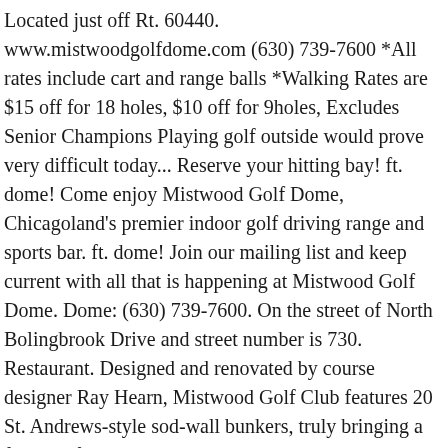Located just off Rt. 60440. www.mistwoodgolfdome.com (630) 739-7600 *All rates include cart and range balls *Walking Rates are $15 off for 18 holes, $10 off for 9holes, Excludes Senior Champions Playing golf outside would prove very difficult today... Reserve your hitting bay! ft. dome! Come enjoy Mistwood Golf Dome, Chicagoland's premier indoor golf driving range and sports bar. ft. dome! Join our mailing list and keep current with all that is happening at Mistwood Golf Dome. Dome: (630) 739-7600. On the street of North Bolingbrook Drive and street number is 730. Restaurant. Designed and renovated by course designer Ray Hearn, Mistwood Golf Club features 20 St. Andrews-style sod-wall bunkers, truly bringing a feeling of Scotland to the Midwest. The 60,000 square-foot facility has been transformed into an innovative and dynamic golf range center where golfers and non-golfers alike will improve and enjoy games utilizing the Toptracer Range technology. Mistwood Golf Dome in Bolingbrook, IL is the latest look into what artificial intelligence and budding technologies can offer to the game of golf, and it might be the most unique driving range you'll ever experience. Two Charged With Burglary For Mistwood Golf Dome